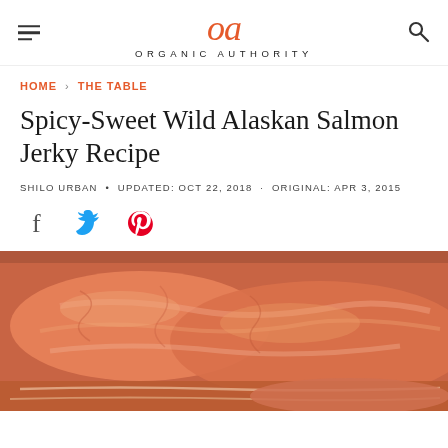oa ORGANIC AUTHORITY
HOME > THE TABLE
Spicy-Sweet Wild Alaskan Salmon Jerky Recipe
SHILO URBAN • UPDATED: OCT 22, 2018 • ORIGINAL: APR 3, 2015
[Figure (other): Social share icons: Facebook, Twitter, Pinterest]
[Figure (photo): Close-up photo of raw wild Alaskan salmon fillets with visible pink flesh and texture]